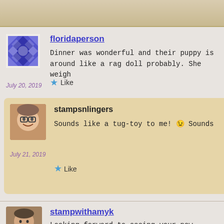[Figure (photo): Top strip showing partial image of a decorative/textured surface]
[Figure (illustration): Geometric quilt-style avatar icon in blue/purple for user floridaperson]
floridaperson
July 20, 2019
Dinner was wonderful and their puppy is around like a rag doll probably. She weigh
Like
[Figure (photo): Profile photo of a woman with glasses smiling, avatar for stampsnlingers]
stampsnlingers
Sounds like a tug-toy to me! 😉 Sounds
July 21, 2019
Like
[Figure (photo): Profile photo of a woman, avatar for stampwithamyk]
stampwithamyk
Looking forward to seeing your new creatio was on the ottoman. He was mostly comfor
July 20, 2019